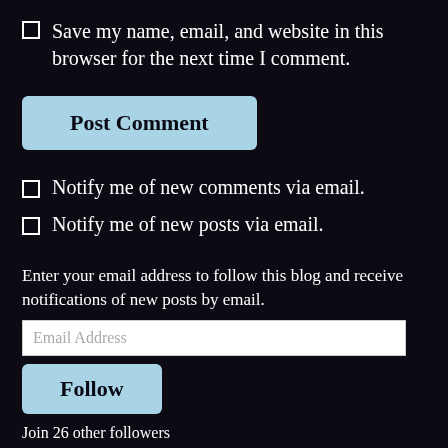Save my name, email, and website in this browser for the next time I comment.
Post Comment
Notify me of new comments via email.
Notify me of new posts via email.
Enter your email address to follow this blog and receive notifications of new posts by email.
Email Address
Follow
Join 26 other followers
DARKARTS . ℗